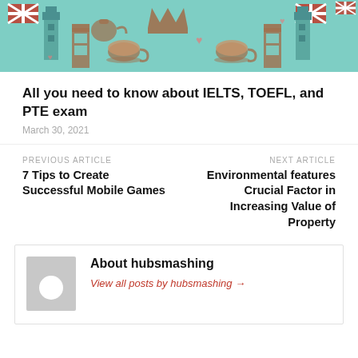[Figure (illustration): Decorative banner image with teal/turquoise background featuring British icons: Union Jack flags, Big Ben, telephone booths, teacups, teapots, crown, in teal and brown tones]
All you need to know about IELTS, TOEFL, and PTE exam
March 30, 2021
PREVIOUS ARTICLE
7 Tips to Create Successful Mobile Games
NEXT ARTICLE
Environmental features Crucial Factor in Increasing Value of Property
About hubsmashing
View all posts by hubsmashing →